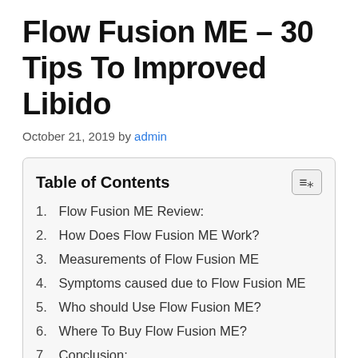Flow Fusion ME – 30 Tips To Improved Libido
October 21, 2019 by admin
| Table of Contents |
| --- |
| 1. Flow Fusion ME Review: |
| 2. How Does Flow Fusion ME Work? |
| 3. Measurements of Flow Fusion ME |
| 4. Symptoms caused due to Flow Fusion ME |
| 5. Who should Use Flow Fusion ME? |
| 6. Where To Buy Flow Fusion ME? |
| 7. Conclusion: |
Flow Fusion ME Review: